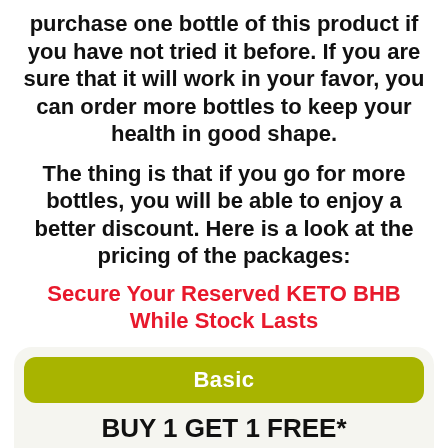purchase one bottle of this product if you have not tried it before. If you are sure that it will work in your favor, you can order more bottles to keep your health in good shape.
The thing is that if you go for more bottles, you will be able to enjoy a better discount. Here is a look at the pricing of the packages:
Secure Your Reserved KETO BHB While Stock Lasts
Basic
BUY 1 GET 1 FREE*